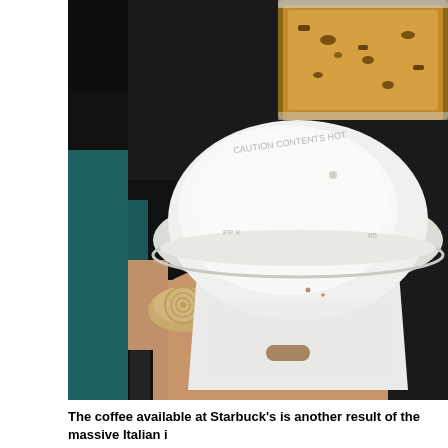[Figure (photo): A close-up photograph of a person's arm holding a Starbucks coffee cup with a white plastic lid reading 'CAUTION CONTENTS HOT'. In the background, a pastry (biscotti or similar baked good) is visible in packaging, along with a dark surface and a shoe.]
The coffee available at Starbuck's is another result of the massive Italian i